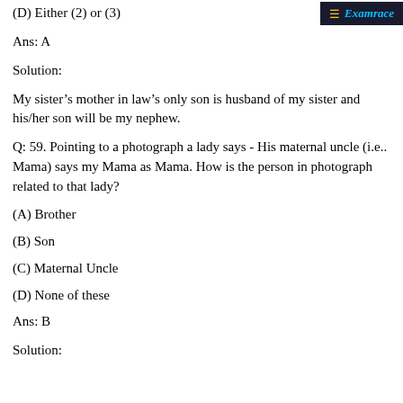(D) Either (2) or (3)
[Figure (logo): Examrace logo - dark background with menu icon and text]
Ans: A
Solution:
My sister's mother in law's only son is husband of my sister and his/her son will be my nephew.
Q: 59. Pointing to a photograph a lady says - His maternal uncle (i.e.. Mama) says my Mama as Mama. How is the person in photograph related to that lady?
(A) Brother
(B) Son
(C) Maternal Uncle
(D) None of these
Ans: B
Solution: